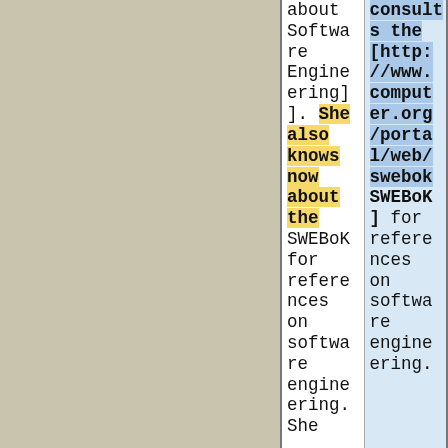| Column 1 | Column 2 |
| --- | --- |
| about Software Engineering]. | consults the [http://www.computer.org/portal/web/swebok SWEBoK] for references on software engineering. |
| She also knows now about the SWEBoK for references on software engineering. She... |  |